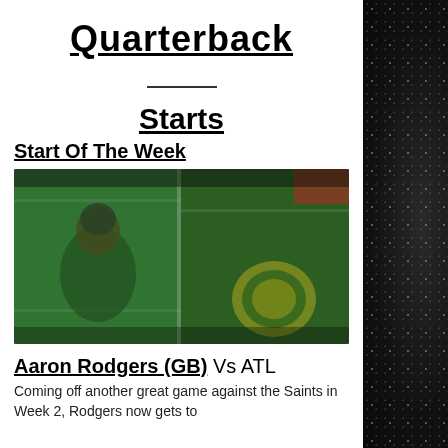Quarterback
Starts
Start Of The Week
[Figure (photo): Blurred photo of Aaron Rodgers on a green football field, split into two panels with a Green Bay Packers logo visible on the right side.]
Aaron Rodgers (GB) Vs ATL
Coming off another great game against the Saints in Week 2, Rodgers now gets to